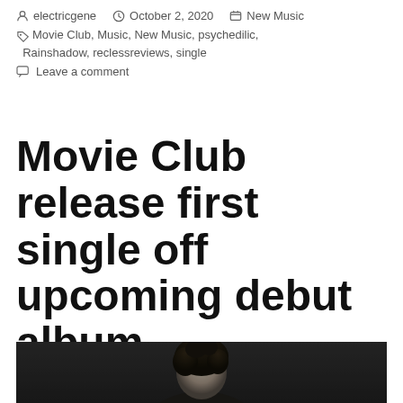electricgene  October 2, 2020  New Music
Movie Club, Music, New Music, psychedilic, Rainshadow, reclessreviews, single
Leave a comment
Movie Club release first single off upcoming debut album
[Figure (photo): Black and white photo of a person with curly dark hair, cropped at top of image, dark moody background]